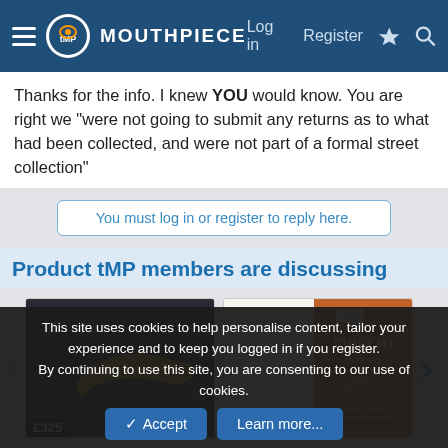The Mouthpiece — Log in | Register
Thanks for the info. I knew YOU would know. You are right we "were not going to submit any returns as to what had been collected, and were not part of a formal street collection"
You must log in or register to reply here.
Product tMP members are discussing
[Figure (photo): Photo of a gold brass instrument (cornet/trumpet) in a black case, price badge showing £325]
[Figure (photo): Photo of an orange/brown book cover titled FIDELIO with text about brass band, price badge showing £4]
This site uses cookies to help personalise content, tailor your experience and to keep you logged in if you register.
By continuing to use this site, you are consenting to our use of cookies.
✓ Accept   Learn more...